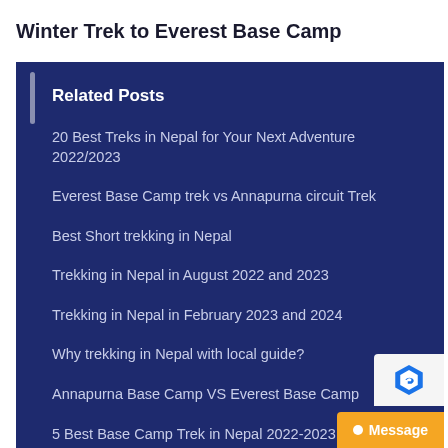Winter Trek to Everest Base Camp
Related Posts
20 Best Treks in Nepal for Your Next Adventure 2022/2023
Everest Base Camp trek vs Annapurna circuit Trek
Best Short trekking in Nepal
Trekking in Nepal in August 2022 and 2023
Trekking in Nepal in February 2023 and 2024
Why trekking in Nepal with local guide?
Annapurna Base Camp VS Everest Base Camp
5 Best Base Camp Trek in Nepal 2022-2023